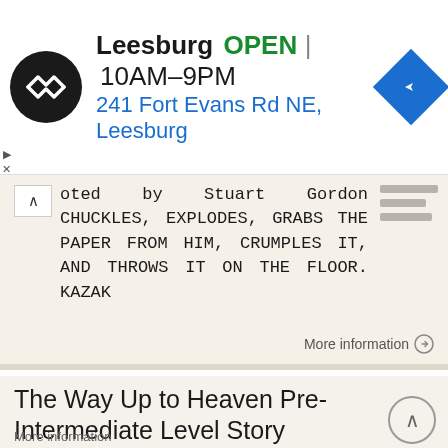[Figure (infographic): Ad banner: Loop store logo (black circle with double arrow icon), store name 'Leesburg', OPEN status in green, hours 10AM-9PM, address '241 Fort Evans Rd NE, Leesburg' in blue, blue diamond navigation icon on right]
oted by Stuart Gordon CHUCKLES, EXPLODES, GRABS THE PAPER FROM HIM, CRUMPLES IT, AND THROWS IT ON THE FLOOR. KAZAK
More information →
The Way Up to Heaven Pre-Intermediate Level Story
The Way Up to Heaven Pre-Intermediate Level Story All her life, Mrs Foster had had an almost unhealthy fear of missing a train, a plane, a boat, or even a theatre starting time. She didn't worry about
More information →